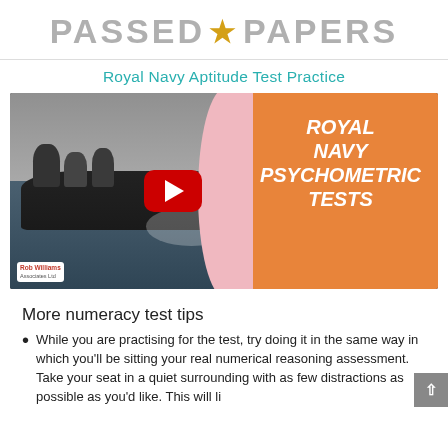PASSED★PAPERS
Royal Navy Aptitude Test Practice
[Figure (screenshot): Video thumbnail showing Royal Navy personnel on a speedboat (left, greyscale) and orange panel with text 'ROYAL NAVY PSYCHOMETRIC TESTS' (right), with a YouTube play button in the center and a pink blob design element dividing the two halves.]
More numeracy test tips
While you are practising for the test, try doing it in the same way in which you'll be sitting your real numerical reasoning assessment. Take your seat in a quiet surrounding with as few distractions as possible as you'd like. This will be...